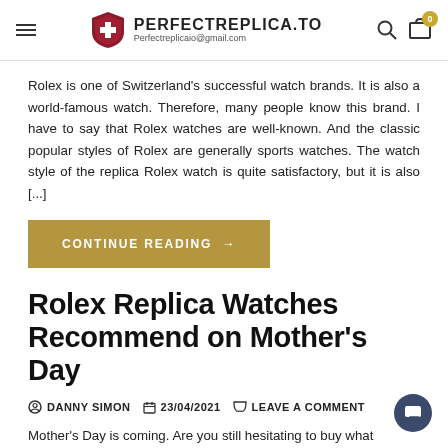PERFECTREPLICA.TO — Perfectreplicaio@gmail.com
Rolex is one of Switzerland's successful watch brands. It is also a world-famous watch. Therefore, many people know this brand. I have to say that Rolex watches are well-known. And the classic popular styles of Rolex are generally sports watches. The watch style of the replica Rolex watch is quite satisfactory, but it is also [...]
CONTINUE READING →
Rolex Replica Watches Recommend on Mother's Day
DANNY SIMON   23/04/2021   LEAVE A COMMENT
Mother's Day is coming. Are you still hesitating to buy what